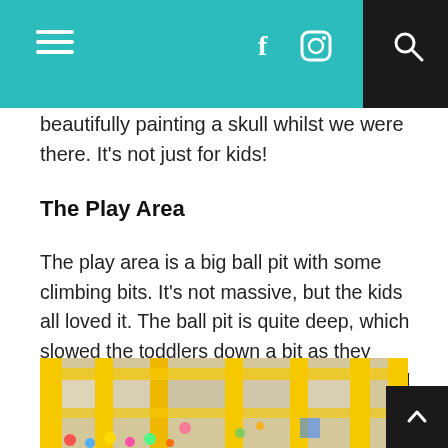Navigation bar with hamburger menu, Facebook icon, Instagram icon, search icon
beautifully painting a skull whilst we were there. It's not just for kids!
The Play Area
The play area is a big ball pit with some climbing bits. It's not massive, but the kids all loved it. The ball pit is quite deep, which slowed the toddlers down a bit as they were trying to clamber through it. They had a great time in there.
[Figure (photo): Indoor playground with yellow metal frame structures and netting, colorful ball pit visible inside]